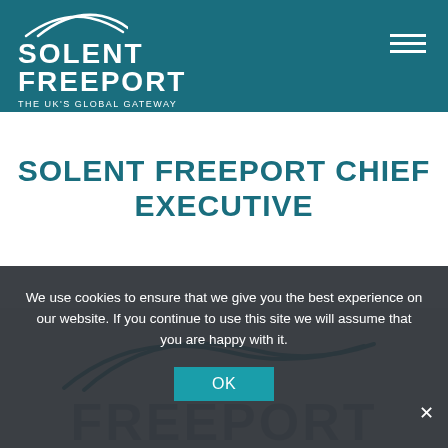[Figure (logo): Solent Freeport logo with arc graphic, white text on teal background reading SOLENT FREEPORT THE UK'S GLOBAL GATEWAY, hamburger menu icon top right]
SOLENT FREEPORT CHIEF EXECUTIVE
[Figure (illustration): Grey background image area showing teal arc/swoosh graphic and large watermark text FREEPORT partially visible]
We use cookies to ensure that we give you the best experience on our website. If you continue to use this site we will assume that you are happy with it.